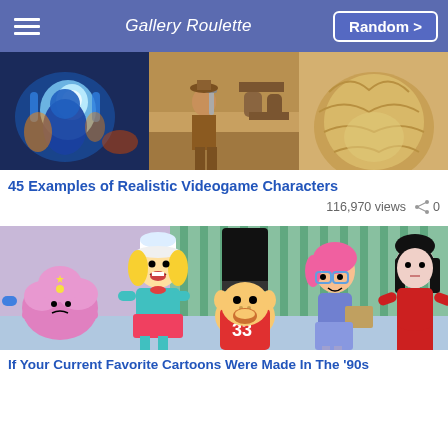Gallery Roulette | Random >
[Figure (photo): Three-panel image strip showing realistic videogame characters: a blue glowing fantasy character, an Indiana Jones-style adventurer in a tavern, and a close-up of a furry animal.]
45 Examples of Realistic Videogame Characters
116,970 views  0
[Figure (screenshot): Cartoon image showing Adventure Time characters redesigned in a 90s cartoon style: Lumpy Space Princess, Fionna, a Royal Guard (Jake with hat), a girl with pink glasses, and a dark-haired girl in red dress.]
If Your Current Favorite Cartoons Were Made In The '90s